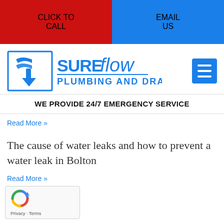CLICK TO CALL | EMAIL US
[Figure (logo): SureFlow Plumbing and Drain logo with arrow icon in blue square border]
WE PROVIDE 24/7 EMERGENCY SERVICE
Read More »
The cause of water leaks and how to prevent a water leak in Bolton
Read More »
[Figure (other): reCAPTCHA widget with Privacy and Terms text]